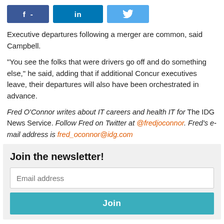[Figure (other): Social media share buttons: Facebook (f -), LinkedIn (in), Twitter (bird icon)]
Executive departures following a merger are common, said Campbell.
"You see the folks that were drivers go off and do something else," he said, adding that if additional Concur executives leave, their departures will also have been orchestrated in advance.
Fred O'Connor writes about IT careers and health IT for The IDG News Service. Follow Fred on Twitter at @fredjoconnor. Fred's e-mail address is fred_oconnor@idg.com
Join the newsletter!
Email address
Join
Or